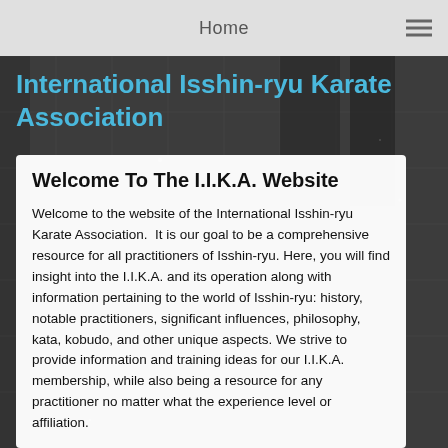Home
International Isshin-ryu Karate Association
Welcome To The I.I.K.A. Website
Welcome to the website of the International Isshin-ryu Karate Association.  It is our goal to be a comprehensive resource for all practitioners of Isshin-ryu. Here, you will find insight into the I.I.K.A. and its operation along with information pertaining to the world of Isshin-ryu: history, notable practitioners, significant influences, philosophy, kata, kobudo, and other unique aspects. We strive to provide information and training ideas for our I.I.K.A. membership, while also being a resource for any practitioner no matter what the experience level or affiliation.